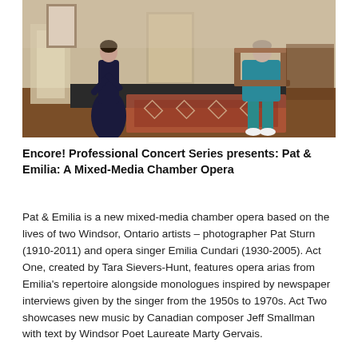[Figure (photo): A theatre stage scene with a woman in a dark navy dress standing on the left and another person in teal/blue sitting on a chair on the right, in a room with a patterned rug and period furniture.]
Encore! Professional Concert Series presents: Pat & Emilia: A Mixed-Media Chamber Opera
Pat & Emilia is a new mixed-media chamber opera based on the lives of two Windsor, Ontario artists – photographer Pat Sturn (1910-2011) and opera singer Emilia Cundari (1930-2005). Act One, created by Tara Sievers-Hunt, features opera arias from Emilia's repertoire alongside monologues inspired by newspaper interviews given by the singer from the 1950s to 1970s. Act Two showcases new music by Canadian composer Jeff Smallman with text by Windsor Poet Laureate Marty Gervais.